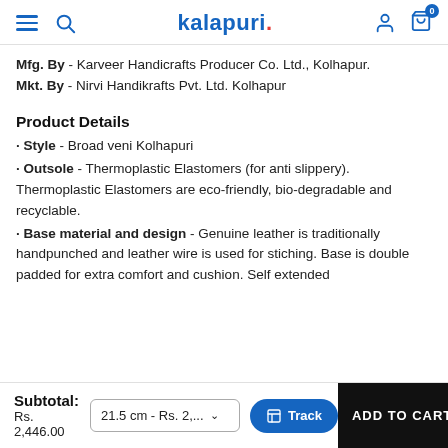kalapuri [navigation header with hamburger, search, logo, account, cart]
Mfg. By - Karveer Handicrafts Producer Co. Ltd., Kolhapur.
Mkt. By - Nirvi Handikrafts Pvt. Ltd. Kolhapur
Product Details
· Style - Broad veni Kolhapuri
· Outsole - Thermoplastic Elastomers (for anti slippery). Thermoplastic Elastomers are eco-friendly, bio-degradable and recyclable.
· Base material and design - Genuine leather is traditionally handpunched and leather wire is used for stiching. Base is double padded for extra comfort and cushion. Self extended
Subtotal:
Rs.
2,446.00
21.5 cm - Rs. 2,... ∨
Track
ADD TO CART